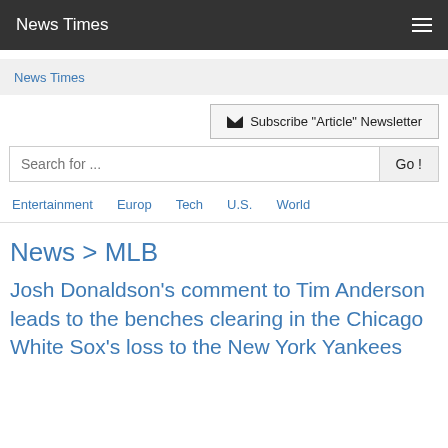News Times
News Times
Subscribe "Article" Newsletter
Search for ...
Entertainment
Europ
Tech
U.S.
World
News > MLB
Josh Donaldson's comment to Tim Anderson leads to the benches clearing in the Chicago White Sox's loss to the New York Yankees